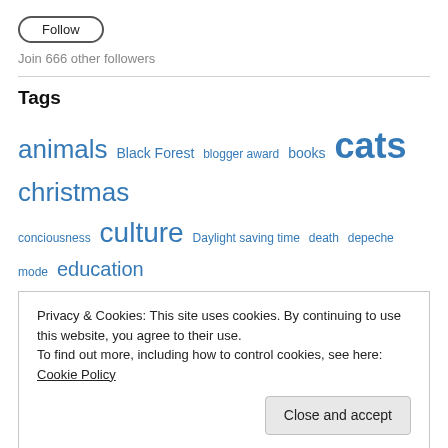Follow
Join 666 other followers
Tags
animals Black Forest blogger award books cats christmas conciousness culture Daylight saving time death depeche mode education family food forgiveness freedom fun funny goodies
Privacy & Cookies: This site uses cookies. By continuing to use this website, you agree to their use.
To find out more, including how to control cookies, see here: Cookie Policy
Close and accept